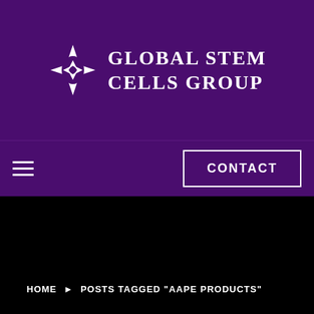[Figure (logo): Global Stem Cells Group logo with star/snowflake shaped icon and uppercase serif text]
CONTACT
HOME ▶ POSTS TAGGED "AAPE PRODUCTS"